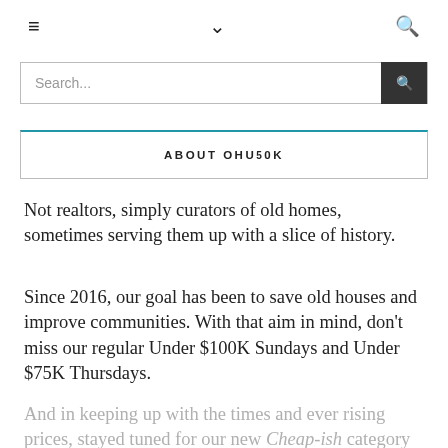≡  ∨  🔍
[Figure (screenshot): Search bar with text 'Search...' and a dark search button on the right]
ABOUT OHU50K
Not realtors, simply curators of old homes, sometimes serving them up with a slice of history.
Since 2016, our goal has been to save old houses and improve communities. With that aim in mind, don't miss our regular Under $100K Sundays and Under $75K Thursdays.
And in keeping up with the times and ever rising prices, stayed tuned for our new Cheap-ish category featuring a collection of amazing old homes under